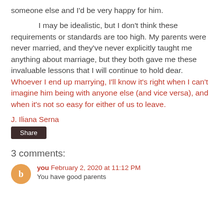someone else and I'd be very happy for him.
I may be idealistic, but I don't think these requirements or standards are too high. My parents were never married, and they've never explicitly taught me anything about marriage, but they both gave me these invaluable lessons that I will continue to hold dear. Whoever I end up marrying, I'll know it's right when I can't imagine him being with anyone else (and vice versa), and when it's not so easy for either of us to leave.
J. Iliana Serna
Share
3 comments:
you February 2, 2020 at 11:12 PM
You have good parents